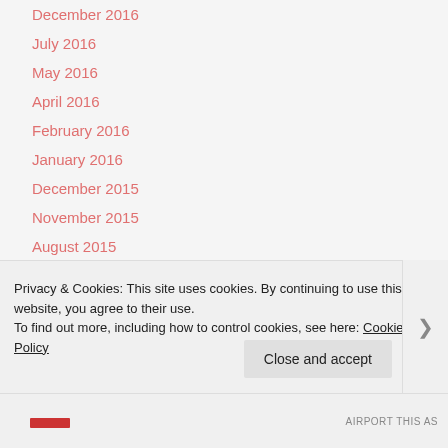December 2016
July 2016
May 2016
April 2016
February 2016
January 2016
December 2015
November 2015
August 2015
May 2015
April 2015
Privacy & Cookies: This site uses cookies. By continuing to use this website, you agree to their use.
To find out more, including how to control cookies, see here: Cookie Policy
AIRPORT THIS AS